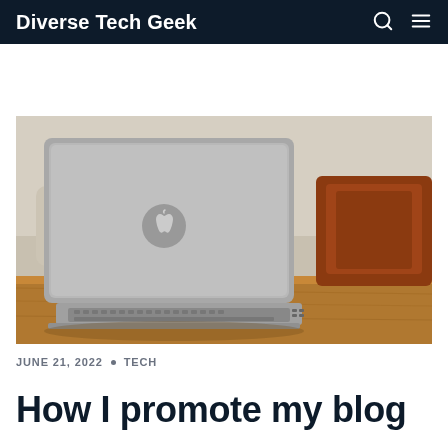Diverse Tech Geek
[Figure (photo): Apple MacBook laptop viewed from behind on a wooden table, with a wooden chair and a light-colored wall in the background]
JUNE 21, 2022 · TECH
How I promote my blog